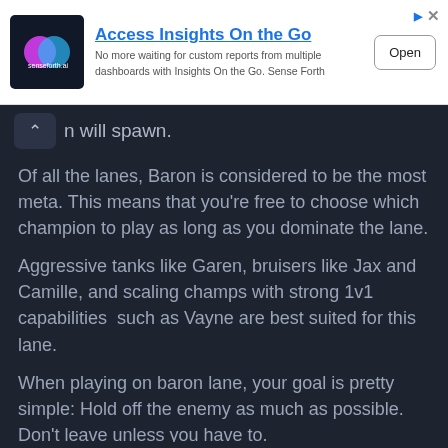[Figure (screenshot): Advertisement banner for senseforth.ai - 'Access Insights On the Go'. Shows logo, description text, and Open button.]
n will spawn.
Of all the lanes, Baron is considered to be the most meta. This means that you're free to choose which champion to play as long as you dominate the lane.
Aggressive tanks like Garen, bruisers like Jax and Camille, and scaling champs with strong 1v1 capabilities  such as Vayne are best suited for this lane.
When playing on baron lane, your goal is pretty simple: Hold off the enemy as much as possible. Don't leave unless you have to.